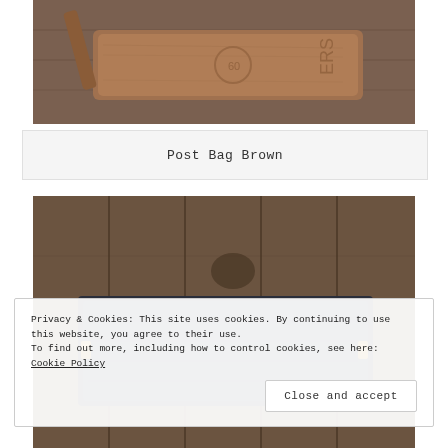[Figure (photo): Brown leather post bag lying flat on a rustic wooden surface, with a strap visible]
Post Bag Brown
[Figure (photo): Dark navy/black leather post bag on a rustic wooden background, with buckle hardware visible]
Privacy & Cookies: This site uses cookies. By continuing to use this website, you agree to their use.
To find out more, including how to control cookies, see here: Cookie Policy
Close and accept